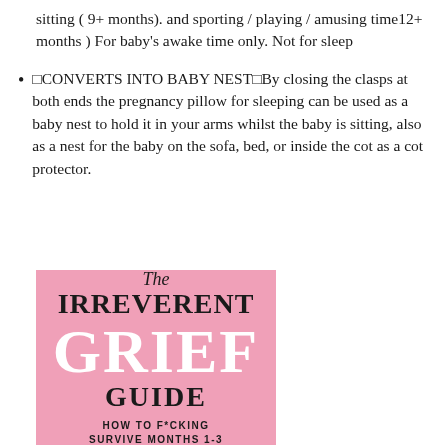sitting ( 9+ months). and sporting / playing / amusing time12+ months ) For baby's awake time only. Not for sleep
□CONVERTS INTO BABY NEST□By closing the clasps at both ends the pregnancy pillow for sleeping can be used as a baby nest to hold it in your arms whilst the baby is sitting, also as a nest for the baby on the sofa, bed, or inside the cot as a cot protector.
[Figure (illustration): Book cover for 'The Irreverent Grief Guide: How to F*cking Survive Months 1-3'. Pink background with large white GRIEF text and black text for title and subtitle.]